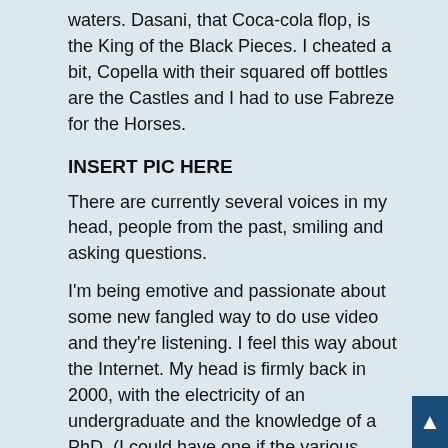waters. Dasani, that Coca-cola flop, is the King of the Black Pieces. I cheated a bit, Copella with their squared off bottles are the Castles and I had to use Fabreze for the Horses.
INSERT PIC HERE
There are currently several voices in my head, people from the past, smiling and asking questions.
I'm being emotive and passionate about some new fangled way to do use video and they're listening. I feel this way about the Internet. My head is firmly back in 2000, with the electricity of an undergraduate and the knowledge of a PhD. (I could have one if the various courses I've done had been or could be validated and LinkedIn). Eventually.
I intend to study for life, life-long learning - literally.
I'm planning a module beyond the MA in Open and Distance Education that I'll complete in October 2011.
Foundations in research probably rather than a different subject, though in good time Modern History (yet again), and